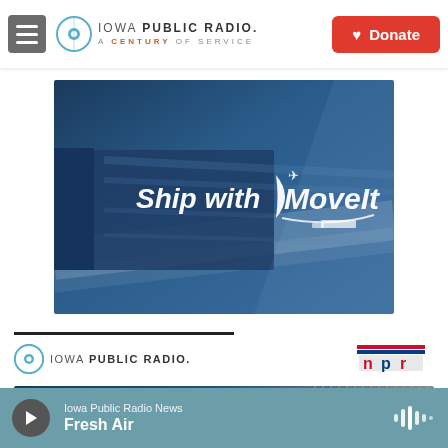Iowa Public Radio. A Century of Service. Donate
[Figure (illustration): Advertisement image with a blue-toned motion-blurred truck/transport background. White text reads 'Ship with MoveIt' with a crescent logo and airplane icon above the text.]
[Figure (logo): Iowa Public Radio logo with circle icon, text 'IOWA PUBLIC RADIO.' below a horizontal dark line, and NPR logo (red, blue, white block letters n p r) on the right.]
[Figure (photo): Partial image strip visible at the bottom, dark blue tones.]
Iowa Public Radio News  Fresh Air